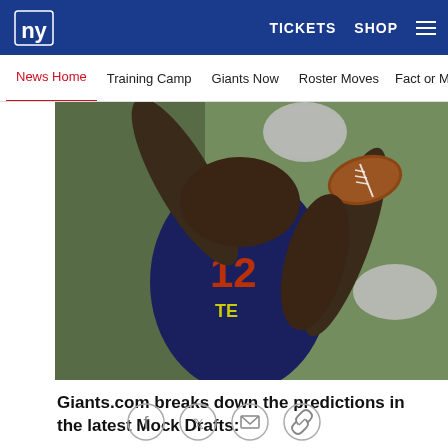NY Giants — TICKETS  SHOP  ☰
News Home  Training Camp  Giants Now  Roster Moves  Fact or ...
[Figure (photo): Football player wearing navy blue jersey number 12 TE reaching to catch a football during NFL Combine drill]
Giants.com breaks down the predictions in the latest Mock Drafts:
[Figure (photo): Dark image block below article text]
Social share icons: Facebook, Twitter, Email, Link